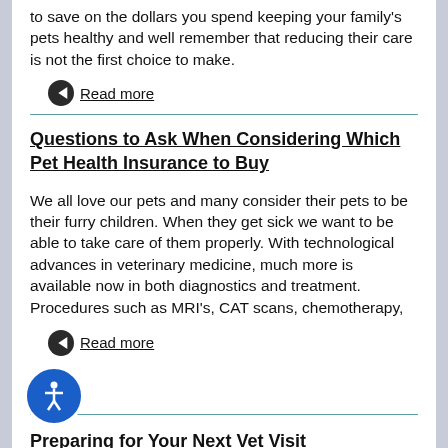to save on the dollars you spend keeping your family's pets healthy and well remember that reducing their care is not the first choice to make.
Read more
Questions to Ask When Considering Which Pet Health Insurance to Buy
We all love our pets and many consider their pets to be their furry children. When they get sick we want to be able to take care of them properly. With technological advances in veterinary medicine, much more is available now in both diagnostics and treatment. Procedures such as MRI's, CAT scans, chemotherapy,
Read more
Preparing for Your Next Vet Visit